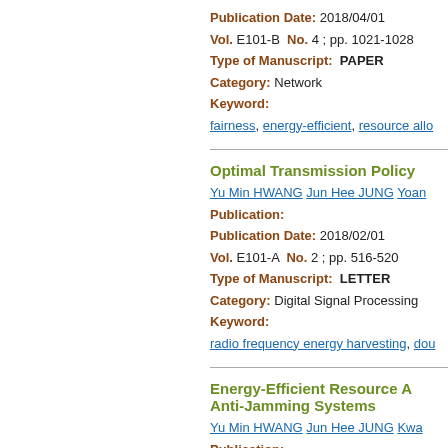Publication Date: 2018/04/01
Vol. E101-B  No. 4 ; pp. 1021-1028
Type of Manuscript:  PAPER
Category: Network
Keyword:
fairness, energy-efficient, resource allo...
Optimal Transmission Policy
Yu Min HWANG  Jun Hee JUNG  Yoan...
Publication:
Publication Date: 2018/02/01
Vol. E101-A  No. 2 ; pp. 516-520
Type of Manuscript:  LETTER
Category: Digital Signal Processing
Keyword:
radio frequency energy harvesting, dou...
Energy-Efficient Resource A... Anti-Jamming Systems
Yu Min HWANG  Jun Hee JUNG  Kwa...
Publication:
Publication Date: 2017/11/01